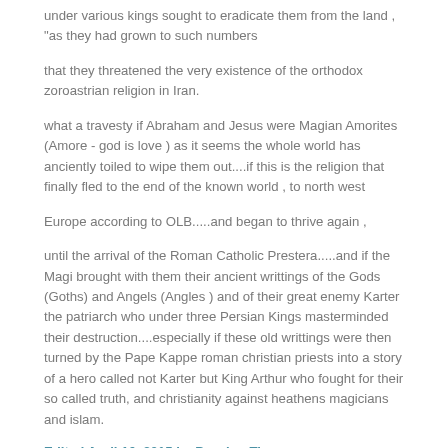under various kings sought to eradicate them from the land , "as they had grown to such numbers
that they threatened the very existence of the orthodox zoroastrian religion in Iran.
what a travesty if Abraham and Jesus were Magian Amorites (Amore - god is love ) as it seems the whole world has anciently toiled to wipe them out....if this is the religion that finally fled to the end of the known world , to north west
Europe according to OLB.....and began to thrive again ,
until the arrival of the Roman Catholic Prestera.....and if the Magi brought with them their ancient writtings of the Gods (Goths) and Angels (Angles ) and of their great enemy Karter the patriarch who under three Persian Kings masterminded their destruction....especially if these old writtings were then turned by the Pape Kappe roman christian priests into a story of a hero called not Karter but King Arthur who fought for their so called truth, and christianity against heathens magicians and islam.
Edited April 16, 2015 by Passing Time